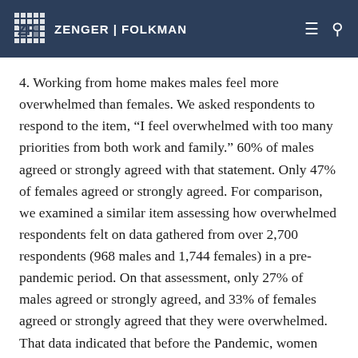ZENGER | FOLKMAN
4. Working from home makes males feel more overwhelmed than females. We asked respondents to respond to the item, “I feel overwhelmed with too many priorities from both work and family.” 60% of males agreed or strongly agreed with that statement. Only 47% of females agreed or strongly agreed. For comparison, we examined a similar item assessing how overwhelmed respondents felt on data gathered from over 2,700 respondents (968 males and 1,744 females) in a pre-pandemic period. On that assessment, only 27% of males agreed or strongly agreed, and 33% of females agreed or strongly agreed that they were overwhelmed. That data indicated that before the Pandemic, women felt more overwhelmed. It has been widely known that women typically do most